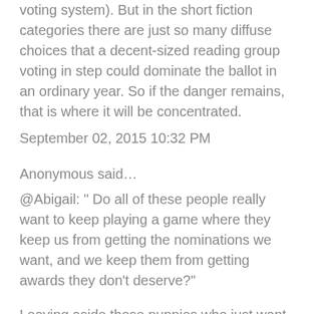voting system). But in the short fiction categories there are just so many diffuse choices that a decent-sized reading group voting in step could dominate the ballot in an ordinary year. So if the danger remains, that is where it will be concentrated.
September 02, 2015 10:32 PM
Anonymous said…
@Abigail: " Do all of these people really want to keep playing a game where they keep us from getting the nominations we want, and we keep them from getting awards they don't deserve?"
Leaving aside those puppies who just want to destroy the hugo awards and